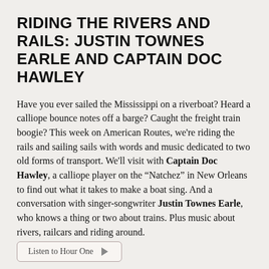RIDING THE RIVERS AND RAILS: JUSTIN TOWNES EARLE AND CAPTAIN DOC HAWLEY
Have you ever sailed the Mississippi on a riverboat? Heard a calliope bounce notes off a barge? Caught the freight train boogie? This week on American Routes, we're riding the rails and sailing sails with words and music dedicated to two old forms of transport. We'll visit with Captain Doc Hawley, a calliope player on the “Natchez” in New Orleans to find out what it takes to make a boat sing. And a conversation with singer-songwriter Justin Townes Earle, who knows a thing or two about trains. Plus music about rivers, railcars and riding around.
Listen to Hour One